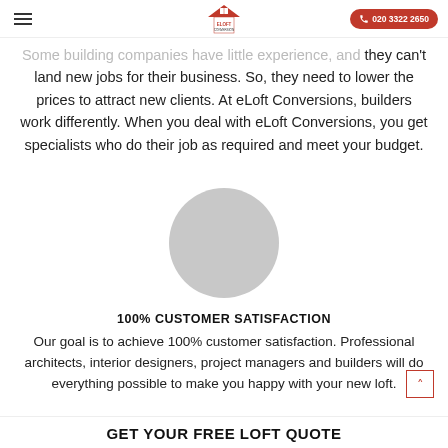eLoft Conversions — 020 3322 2650
Some building companies have little experience, and they can't land new jobs for their business. So, they need to lower the prices to attract new clients. At eLoft Conversions, builders work differently. When you deal with eLoft Conversions, you get specialists who do their job as required and meet your budget.
[Figure (photo): Gray circular profile/avatar placeholder image]
100% CUSTOMER SATISFACTION
Our goal is to achieve 100% customer satisfaction. Professional architects, interior designers, project managers and builders will do everything possible to make you happy with your new loft.
GET YOUR FREE LOFT QUOTE